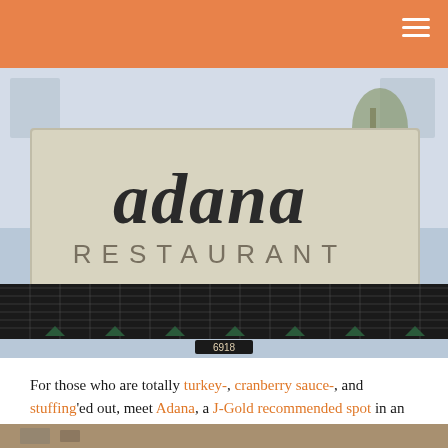[Figure (photo): Exterior sign of Adana Restaurant showing large decorative lettering spelling 'Adana' and 'RESTAURANT' below, with a tiled awning and the address number 6918 visible.]
For those who are totally turkey-, cranberry sauce-, and stuffing'ed out, meet Adana, a J-Gold recommended spot in an unlikely corner of Glendale. Sarah and I stopped in for lunch a few weeks back and ate our weight in superb Middle Eastern cooking.
[Figure (photo): Partial view of a restaurant interior, blurred/cropped at bottom of page.]